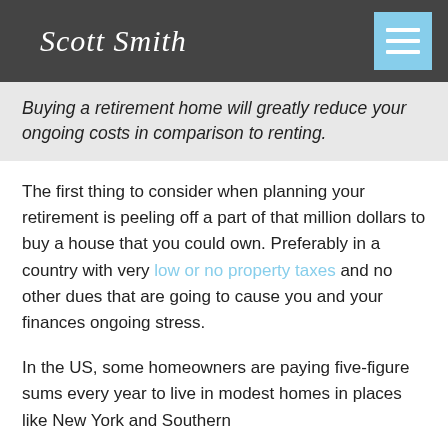Scott Smith
Buying a retirement home will greatly reduce your ongoing costs in comparison to renting.
The first thing to consider when planning your retirement is peeling off a part of that million dollars to buy a house that you could own. Preferably in a country with very low or no property taxes and no other dues that are going to cause you and your finances ongoing stress.
In the US, some homeowners are paying five-figure sums every year to live in modest homes in places like New York and Southern